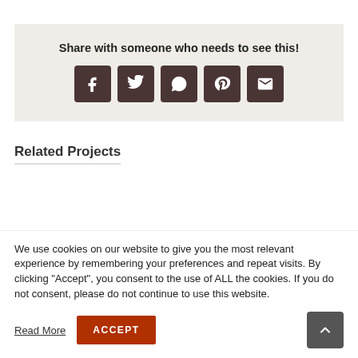Share with someone who needs to see this!
[Figure (infographic): Social share icons: Facebook, Twitter, WhatsApp, Pinterest, Email]
Related Projects
We use cookies on our website to give you the most relevant experience by remembering your preferences and repeat visits. By clicking “Accept”, you consent to the use of ALL the cookies. If you do not consent, please do not continue to use this website.
Read More
ACCEPT